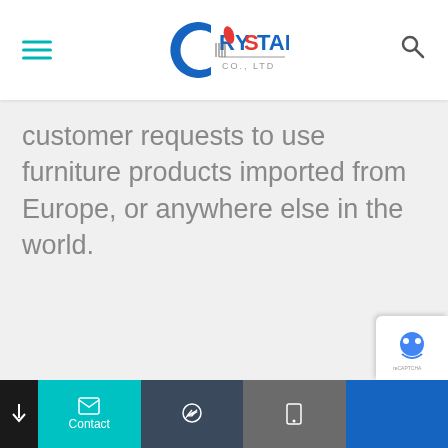Crystal Co., Ltd — Navigation header with logo, hamburger menu, and search icon
customer requests to use furniture products imported from Europe, or anywhere else in the world.
Bottom toolbar with Contact, Messenger, Phone, and navigation segments